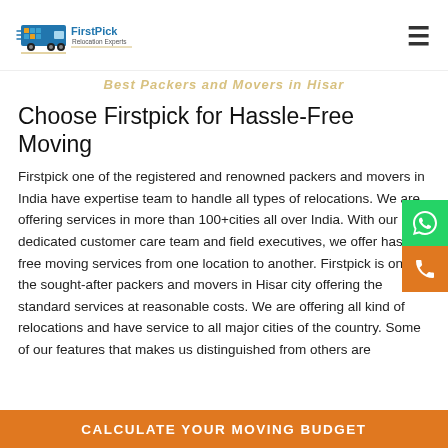FirstPick Relocation Experts
Best Packers and Movers in Hisar
Choose Firstpick for Hassle-Free Moving
Firstpick one of the registered and renowned packers and movers in India have expertise team to handle all types of relocations. We are offering services in more than 100+cities all over India. With our dedicated customer care team and field executives, we offer hassle-free moving services from one location to another. Firstpick is one of the sought-after packers and movers in Hisar city offering the standard services at reasonable costs. We are offering all kind of relocations and have service to all major cities of the country. Some of our features that makes us distinguished from others are
CALCULATE YOUR MOVING BUDGET